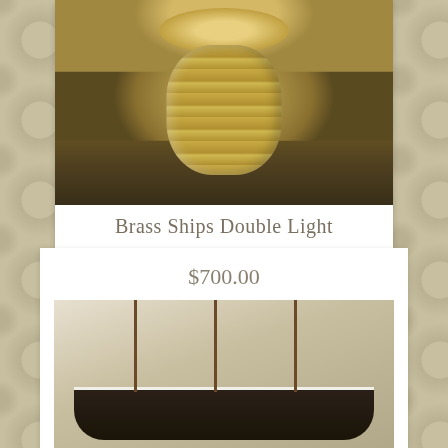[Figure (photo): Photo of a brass ship double light fixture, showing a metallic cylindrical base with a wide bowl top, bronze/gold coloring]
Brass Ships Double Light
$700.00
[Figure (photo): Photo of an American Frigate Essex vintage model ship with tall masts, rigging, and detailed hull on a wooden display stand]
AMERICAN FRIGATE ESSEX VINTAGE